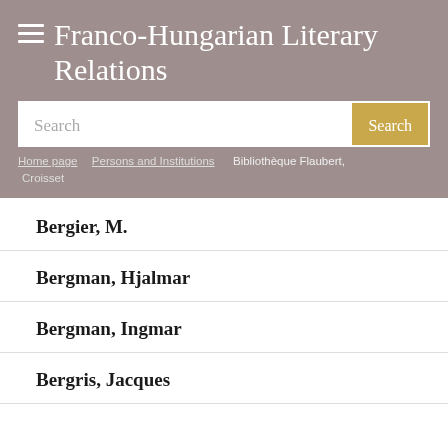Franco-Hungarian Literary Relations
Search
Home page > Persons and Institutions > Bibliothèque Flaubert, Croisset
Bergier, M.
Bergman, Hjalmar
Bergman, Ingmar
Bergris, Jacques